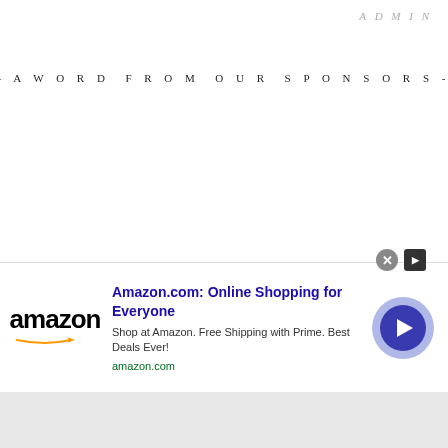ADMIN
- A WORD FROM OUR SPONSORS -
[Figure (infographic): Amazon advertisement banner with Amazon logo, title 'Amazon.com: Online Shopping for Everyone', description 'Shop at Amazon. Free Shipping with Prime. Best Deals Ever!', URL 'amazon.com', a close button (X), an info button, and a play/navigate button circle in blue/purple tones.]